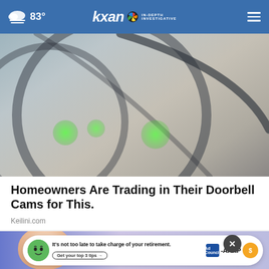83° kxan IN-DEPTH INVESTIGATIVE
[Figure (photo): Close-up photo of a doorbell camera lens with green light reflections on a textured metallic surface with swirl patterns]
Homeowners Are Trading in Their Doorbell Cams for This.
Keilini.com
[Figure (photo): Partial view of a person's face/head with a blue/purple blurred background, and an advertisement overlay for AARP retirement tips with a green mascot character]
It's not too late to take charge of your retirement. Get your top 3 tips →  Ad Council  AARP  Real Possibilities